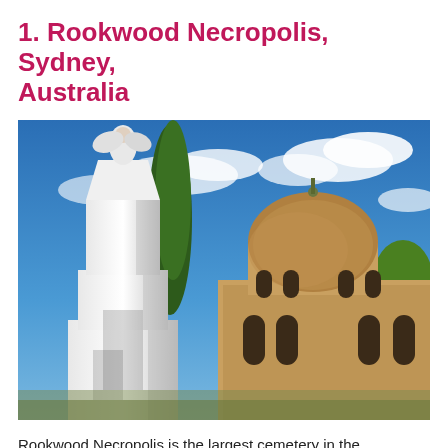1. Rookwood Necropolis, Sydney, Australia
[Figure (photo): Photograph of Rookwood Necropolis showing a tall white stone monument with an angel figure on top, a tall cypress tree behind it, and a large sandstone domed chapel building with arched windows under a blue sky with clouds.]
Rookwood Necropolis is the largest cemetery in the